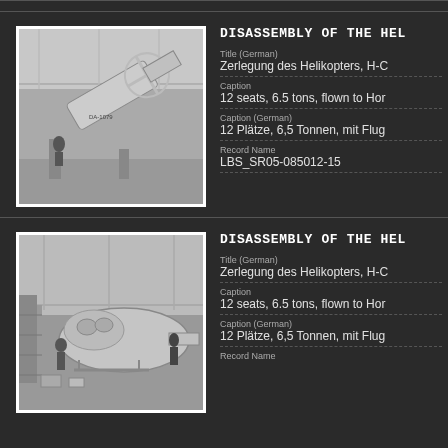[Figure (photo): Black and white photograph of a helicopter being disassembled in a large hangar, showing the tail rotor assembly tilted]
DISASSEMBLY OF THE HEL
Title (German)
Zerlegung des Helikopters, H-C
Caption
12 seats, 6.5 tons, flown to Hor
Caption (German)
12 Plätze, 6,5 Tonnen, mit Flug
Record Name
LBS_SR05-085012-15
[Figure (photo): Black and white photograph of a helicopter being disassembled in a hangar, with workers standing around the fuselage]
DISASSEMBLY OF THE HEL
Title (German)
Zerlegung des Helikopters, H-C
Caption
12 seats, 6.5 tons, flown to Hor
Caption (German)
12 Plätze, 6,5 Tonnen, mit Flug
Record Name